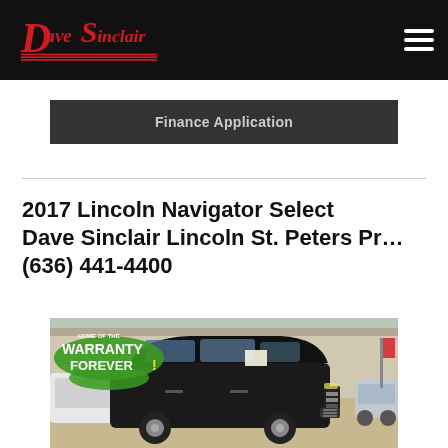Dave Sinclair
Finance Application
2017 Lincoln Navigator Select Dave Sinclair Lincoln St. Peters Pr… (636) 441-4400
[Figure (photo): Photo of a black 2017 Lincoln Navigator SUV at a car dealership lot with WARRANTY FOREVER logo overlay in top left corner]